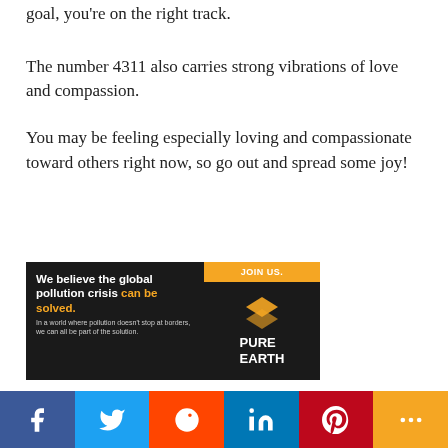goal, you're on the right track.
The number 4311 also carries strong vibrations of love and compassion.
You may be feeling especially loving and compassionate toward others right now, so go out and spread some joy!
[Figure (infographic): Pure Earth advertisement: 'We believe the global pollution crisis can be solved. JOIN US.' with Pure Earth logo and diamond icon.]
[Figure (infographic): Leesburg location info box: OPEN 10AM-9PM, 241 Fort Evans Rd NE, Leesburg, with navigation icon.]
[Figure (infographic): Social share bar with Facebook, Twitter, Reddit, LinkedIn, Pinterest, and More buttons.]